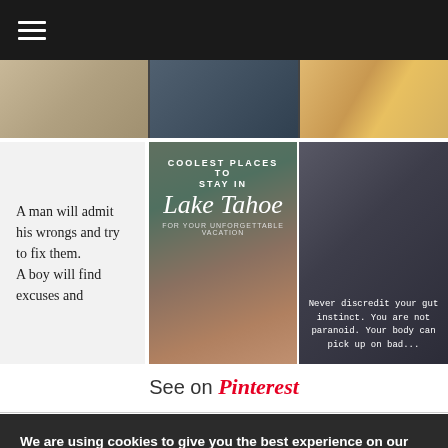[Figure (screenshot): Dark navigation bar with hamburger menu icon (three white horizontal lines) on black background]
[Figure (photo): Top row of three images: portrait photo on left, dark scene in center, food/pasta dish on right]
[Figure (photo): Quote card on light gray background with serif text: 'A man will admit his wrongs and try to fix them. A boy will find excuses and']
[Figure (photo): Travel image: Coolest Places to Stay in Lake Tahoe - For Your Unforgettable Vacation, with architectural photo]
[Figure (photo): Dark photo of man in suit with overlaid quote: 'Never discredit your gut instinct. You are not paranoid. Your body can pick up on bad...']
See on Pinterest
We are using cookies to give you the best experience on our website.
You can find out more about which cookies we are using or switch them off in settings.
Accept